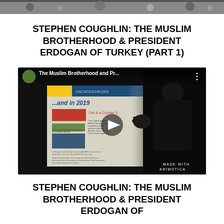[Figure (screenshot): Top partial image strip at very top of page]
STEPHEN COUGHLIN: THE MUSLIM BROTHERHOOD & PRESIDENT ERDOGAN OF TURKEY (PART 1)
[Figure (screenshot): YouTube video thumbnail showing a presentation about The Muslim Brotherhood and President Erdogan, with a silhouette of a person pointing at a projected slide. The slide shows '...and in 2019' text. Bottom right shows 'MADE WITH ANIMOTICA' watermark.]
STEPHEN COUGHLIN: THE MUSLIM BROTHERHOOD & PRESIDENT ERDOGAN OF